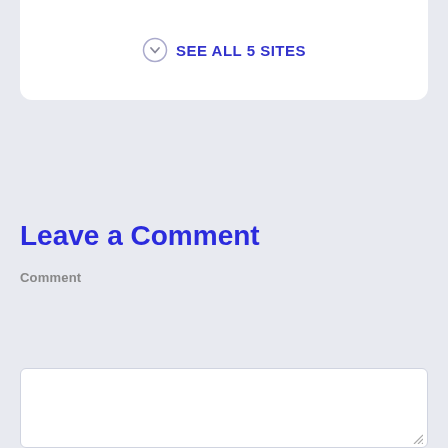SEE ALL 5 SITES
Leave a Comment
Comment